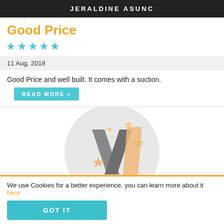JERALDINE ASUNC
Good Price
★★★★★
11 Aug, 2018
Good Price and well built. It comes with a suction.
READ MORE »
[Figure (logo): Circular logo with stylized letter V made of grey shapes, surrounded by orange/tan stars on a light grey circle background]
We use Cookies for a better experience, you can learn more about it here
GOT IT